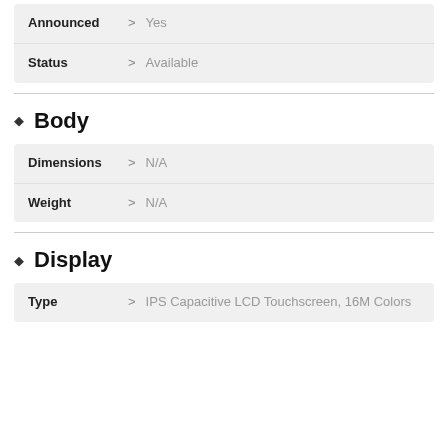| Field |  | Value |
| --- | --- | --- |
| Announced | > | Yes |
| Status | > | Available |
Body
| Field |  | Value |
| --- | --- | --- |
| Dimensions | > | N/A |
| Weight | > | N/A |
Display
| Field |  | Value |
| --- | --- | --- |
| Type | > | IPS Capacitive LCD Touchscreen, 16M Colors |